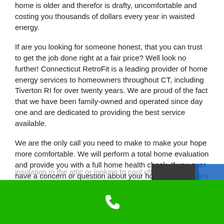home is older and therefor is drafty, uncomfortable and costing you thousands of dollars every year in waisted energy.
If are you looking for someone honest, that you can trust to get the job done right at a fair price? Well look no further! Connecticut RetroFit is a leading provider of home energy services to homeowners throughout CT, including Tiverton RI for over twenty years. We are proud of the fact that we have been family-owned and operated since day one and are dedicated to providing the best service available.
We are the only call you need to make to make your hope more comfortable. We will perform a total home evaluation and provide you with a full home health check. If you ever have a concern or question about your home's efficiencies or if you are considering adding a ductless heat pump, insulation in the attic or looking to cool off wi...